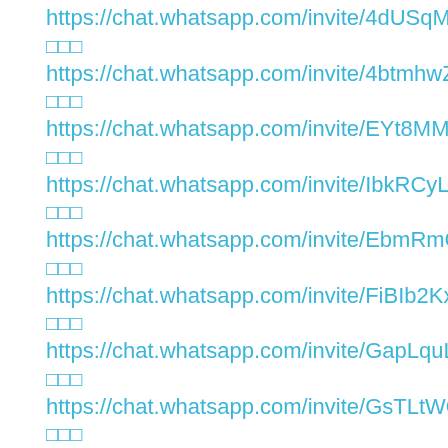https://chat.whatsapp.com/invite/4dUSqMJoz5t2Rw7uqy0hx…
□□□
https://chat.whatsapp.com/invite/4btmhwZJXS759Pwbpb5Ah…
□□□
https://chat.whatsapp.com/invite/EYt8MMlhMya6nRGkqO349…
□□□
https://chat.whatsapp.com/invite/IbkRCyLJRQs3qkzEsFwuku…
□□□
https://chat.whatsapp.com/invite/EbmRmCSaKEQJRvldD0Yl…
□□□
https://chat.whatsapp.com/invite/FiBIb2KxxjjH4RejUebrPn
□□□
https://chat.whatsapp.com/invite/GapLquLSFDVADQ9JsDXx…
□□□
https://chat.whatsapp.com/invite/GsTLtWOgw72GPreTyOxTB…
□□□